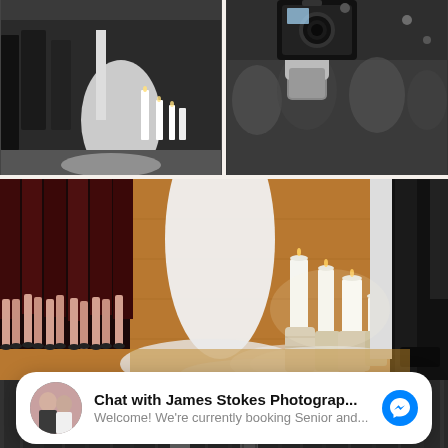[Figure (photo): Black and white wedding ceremony photo showing candles and decorations on the left, and a person holding a camera on the right — two side-by-side photos at the top]
[Figure (photo): Color wedding ceremony photo showing bridesmaids in dark/burgundy dresses on the left, bride in white dress with long train, candles on birch logs on wooden floor, groomsmen in dark suits]
[Figure (photo): Black and white partial photo at the bottom showing a wedding scene]
Chat with James Stokes Photograp...
Welcome! We're currently booking Senior and...